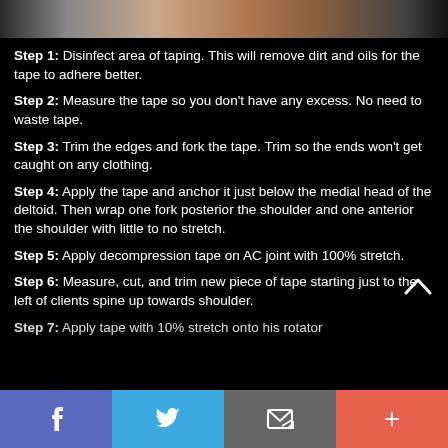[Figure (photo): Partial photo strip at top of page showing a person with kinesiology tape applied to shoulder area, dark background.]
Step 1: Disinfect area of taping. This will remove dirt and oils for the tape to adhere better.
Step 2: Measure the tape so you don't have any excess. No need to waste tape.
Step 3: Trim the edges and fork the tape. Trim so the ends won't get caught on any clothing.
Step 4: Apply the tape and anchor it just below the medial head of the deltoid. Then wrap one fork posterior the shoulder and one anterior the shoulder with little to no stretch.
Step 5: Apply decompression tape on AC joint with 100% stretch.
Step 6: Measure, cut, and trim new piece of tape starting just to the left of clients spine up towards shoulder.
Step 7: Apply tape with 10% stretch onto his rotator
f  [Twitter]  [Email]  +